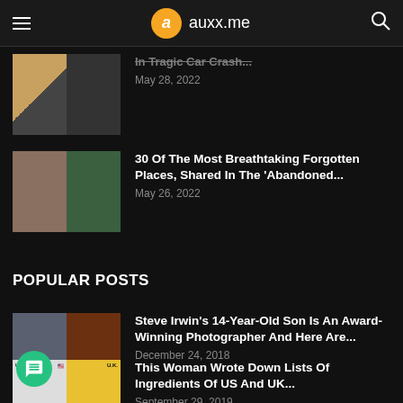auxx.me
In Tragic Car Crash...
May 28, 2022
30 Of The Most Breathtaking Forgotten Places, Shared In The 'Abandoned...
May 26, 2022
POPULAR POSTS
Steve Irwin's 14-Year-Old Son Is An Award-Winning Photographer And Here Are...
December 24, 2018
This Woman Wrote Down Lists Of Ingredients Of US And UK...
September 29, 2019